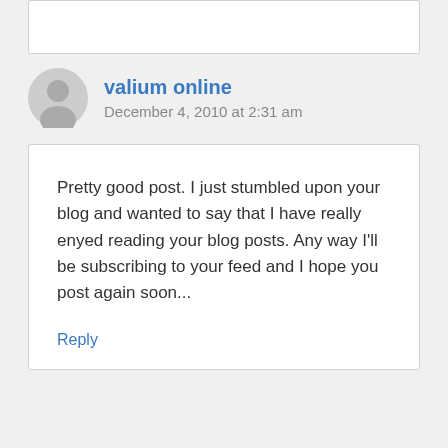valium online
December 4, 2010 at 2:31 am
Pretty good post. I just stumbled upon your blog and wanted to say that I have really enyed reading your blog posts. Any way I'll be subscribing to your feed and I hope you post again soon...
Reply